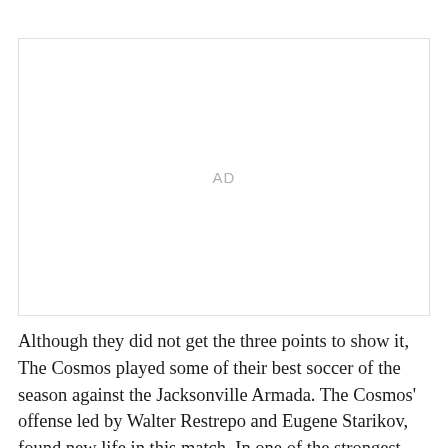[Figure (other): Advertisement placeholder box with 'AD' label in center]
Although they did not get the three points to show it, The Cosmos played some of their best soccer of the season against the Jacksonville Armada. The Cosmos' offense led by Walter Restrepo and Eugene Starikov, found new life in this match. In one of the strongest